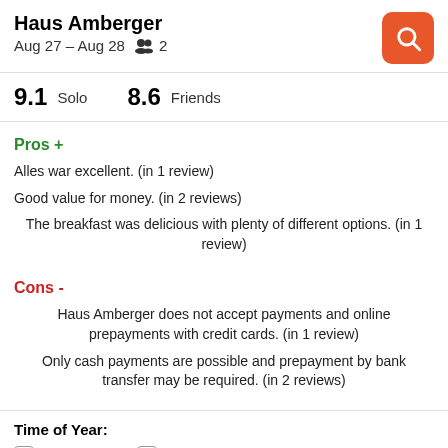Haus Amberger
Aug 27 – Aug 28   2
9.1  Solo   8.6  Friends
Pros +
Alles war excellent. (in 1 review)
Good value for money. (in 2 reviews)
The breakfast was delicious with plenty of different options. (in 1 review)
Cons -
Haus Amberger does not accept payments and online prepayments with credit cards. (in 1 review)
Only cash payments are possible and prepayment by bank transfer may be required. (in 2 reviews)
Time of Year:
Mar-May
Jun-Aug